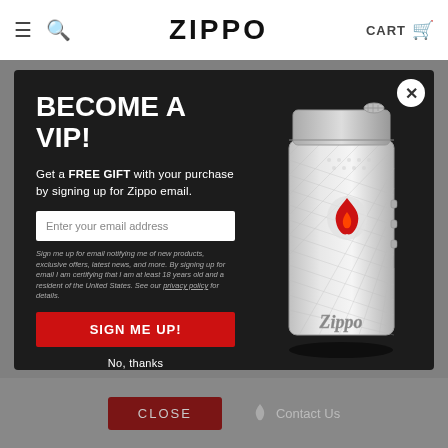≡  🔍  ZIPPO  CART 🛒
[Figure (screenshot): Zippo website popup modal with VIP signup offer]
BECOME A VIP!
Get a FREE GIFT with your purchase by signing up for Zippo email.
Enter your email address
Sign me up for email notifying me of new products, exclusive offers, latest news, and more. By signing up for email I am certifying that I am at least 18 years old and a resident of the United States. See our privacy policy for details.
SIGN ME UP!
No, thanks
CLOSE  Contact Us